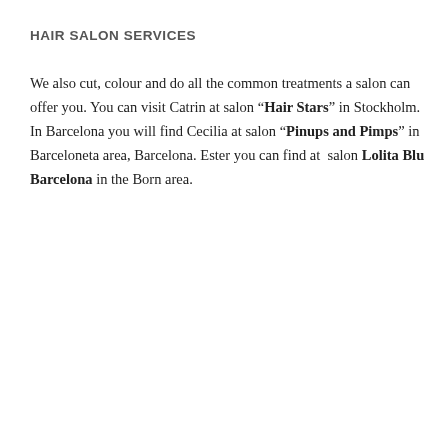HAIR SALON SERVICES
We also cut, colour and do all the common treatments a salon can offer you. You can visit Catrin at salon “Hair Stars” in Stockholm. In Barcelona you will find Cecilia at salon “Pinups and Pimps” in Barceloneta area, Barcelona. Ester you can find at  salon Lolita Blu Barcelona in the Born area.